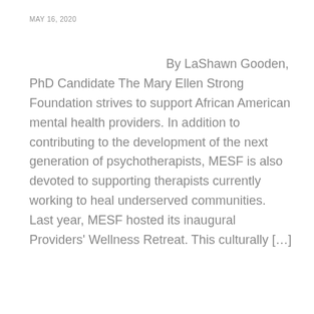MAY 16, 2020
By LaShawn Gooden, PhD Candidate The Mary Ellen Strong Foundation strives to support African American mental health providers. In addition to contributing to the development of the next generation of psychotherapists, MESF is also devoted to supporting therapists currently working to heal underserved communities. Last year, MESF hosted its inaugural Providers' Wellness Retreat. This culturally […]